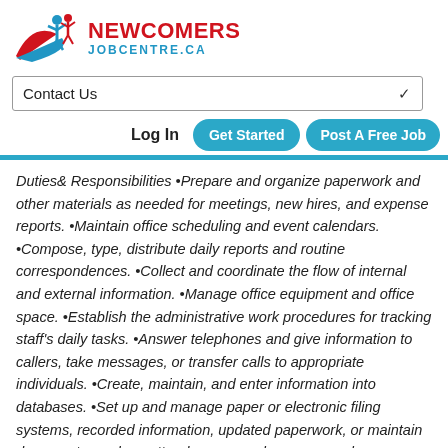[Figure (logo): Newcomers Job Centre logo with stylized figure and swoosh graphic, red and blue colors]
Contact Us
Log In | Get Started | Post A Free Job
Duties& Responsibilities •Prepare and organize paperwork and other materials as needed for meetings, new hires, and expense reports. •Maintain office scheduling and event calendars. •Compose, type, distribute daily reports and routine correspondences. •Collect and coordinate the flow of internal and external information. •Manage office equipment and office space. •Establish the administrative work procedures for tracking staff's daily tasks. •Answer telephones and give information to callers, take messages, or transfer calls to appropriate individuals. •Create, maintain, and enter information into databases. •Set up and manage paper or electronic filing systems, recorded information, updated paperwork, or maintain documents, such as attendance records, correspondence, or other material.